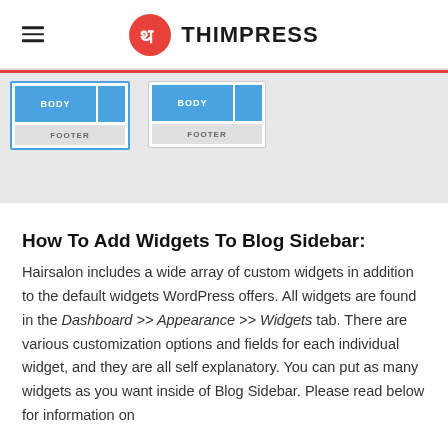THIMPRESS
[Figure (screenshot): UI layout diagram showing two page layout options, each with a BODY section (blue) and FOOTER section (gray). The left layout card is highlighted with a blue border.]
How To Add Widgets To Blog Sidebar:
Hairsalon includes a wide array of custom widgets in addition to the default widgets WordPress offers. All widgets are found in the Dashboard >> Appearance >> Widgets tab. There are various customization options and fields for each individual widget, and they are all self explanatory. You can put as many widgets as you want inside of Blog Sidebar. Please read below for information on